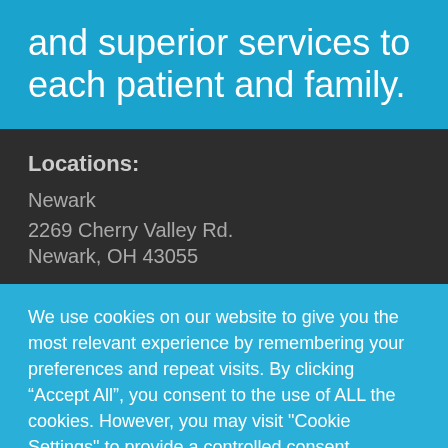and superior services to each patient and family.
Locations:
Newark
2269 Cherry Valley Rd.
Newark, OH 43055
We use cookies on our website to give you the most relevant experience by remembering your preferences and repeat visits. By clicking “Accept All”, you consent to the use of ALL the cookies. However, you may visit "Cookie Settings" to provide a controlled consent.
Cookie Settings | Cookie Policy | Accept All Cookies